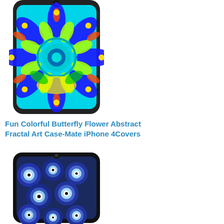[Figure (photo): iPhone 4 case with colorful butterfly flower abstract fractal art design — cyan, green, yellow, red, blue psychedelic mandala pattern on a cyan phone case]
Fun Colorful Butterfly Flower Abstract Fractal Art Case-Mate iPhone 4Covers
[Figure (photo): iPhone 4 case with evil eye (nazar boncuk) beads pattern — dark blue and light blue circular eye beads on a dark smartphone case]